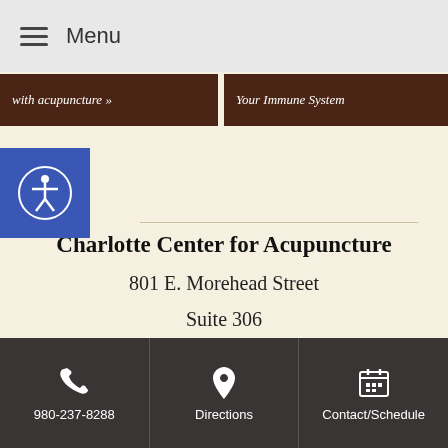Menu
with acupuncture »
Your Immune System
Charlotte Center for Acupuncture
801 E. Morehead Street
Suite 306
Charlotte, NC 28202
Hours
|  |  |
| --- | --- |
| Mon | Closed |
980-237-8288 | Directions | Contact/Schedule